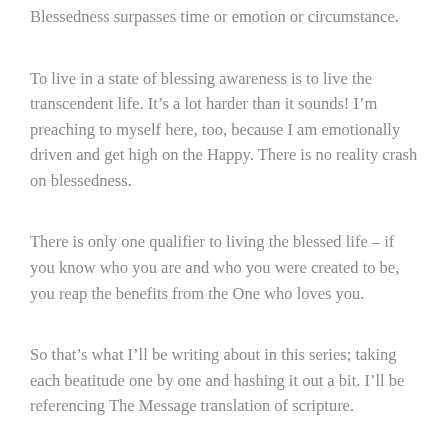Blessedness surpasses time or emotion or circumstance.
To live in a state of blessing awareness is to live the transcendent life. It’s a lot harder than it sounds! I’m preaching to myself here, too, because I am emotionally driven and get high on the Happy. There is no reality crash on blessedness.
There is only one qualifier to living the blessed life – if you know who you are and who you were created to be, you reap the benefits from the One who loves you.
So that’s what I’ll be writing about in this series; taking each beatitude one by one and hashing it out a bit. I’ll be referencing The Message translation of scripture.
Tomorrow the subject will be “Blessed are the poor in spirit” Please come along for the ride!